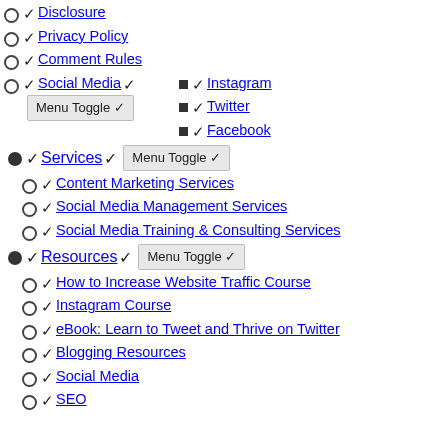Disclosure
Privacy Policy
Comment Rules
Social Media
Instagram
Twitter
Facebook
Services
Content Marketing Services
Social Media Management Services
Social Media Training & Consulting Services
Resources
How to Increase Website Traffic Course
Instagram Course
eBook: Learn to Tweet and Thrive on Twitter
Blogging Resources
Social Media
SEO